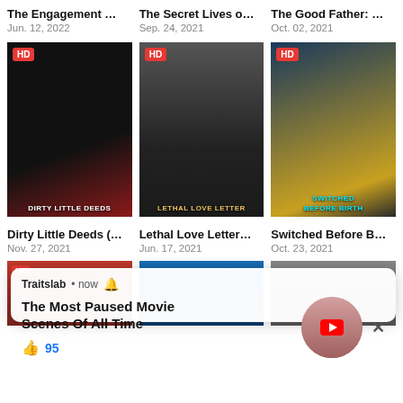The Engagement …
Jun. 12, 2022
The Secret Lives o…
Sep. 24, 2021
The Good Father: …
Oct. 02, 2021
[Figure (photo): Movie poster: Dirty Little Deeds, two people, dark red background]
[Figure (photo): Movie poster: Lethal Love Letter, two faces split down the middle]
[Figure (photo): Movie poster: Switched Before Birth, two women with yellow and blue tones]
Dirty Little Deeds (…
Nov. 27, 2021
Lethal Love Letter…
Jun. 17, 2021
Switched Before B…
Oct. 23, 2021
[Figure (screenshot): Partial movie posters in bottom row with YouTube notification popup overlay]
The Most Paused Movie Scenes Of All Time
Traitslab • now 🔔
95